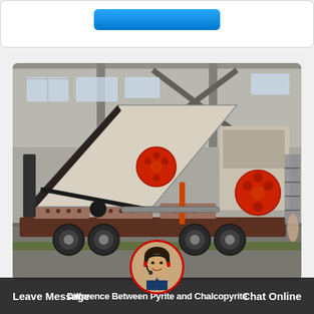[Figure (photo): Mobile crushing and screening plant on a truck trailer inside an industrial factory/warehouse. The machine features red circular flywheels, a long conveyor belt, and a jaw crusher unit mounted on a heavy-duty multi-axle trailer. Industrial steel structure visible in background.]
Leave Message
Chat Online
Difference Between Pyrite and Chalcopyrite